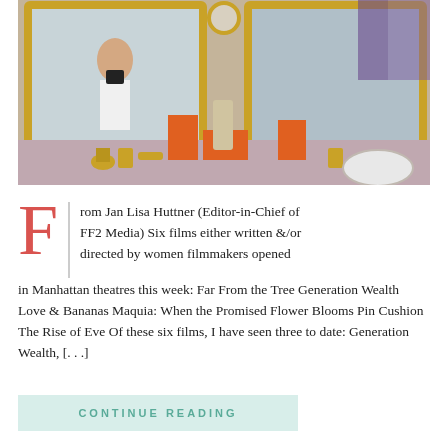[Figure (photo): A person taking a selfie in a mirror in a luxurious bathroom with gold fixtures, orange accessories, and multiple mirrors.]
From Jan Lisa Huttner (Editor-in-Chief of FF2 Media) Six films either written &/or directed by women filmmakers opened in Manhattan theatres this week: Far From the Tree Generation Wealth Love & Bananas Maquia: When the Promised Flower Blooms Pin Cushion The Rise of Eve Of these six films, I have seen three to date: Generation Wealth, [...]
CONTINUE READING